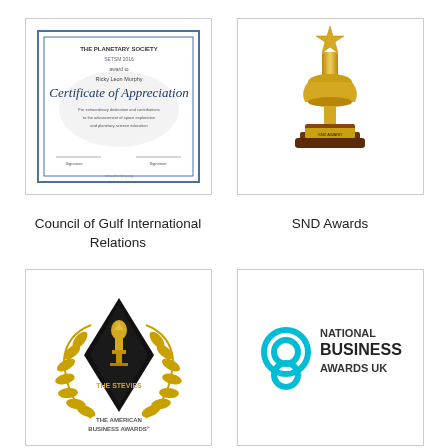[Figure (illustration): Certificate of Appreciation from The Planetary Society, framed with blue border]
Council of Gulf International Relations
[Figure (photo): Gold star trophy award on wooden base]
SND Awards
[Figure (logo): The Stevies - The American Business Awards logo with golden laurel wreath and black diamond shape]
Oman Web Awards
[Figure (logo): National Business Awards UK logo with teal circular chain graphic]
Pan Arab Web Awards